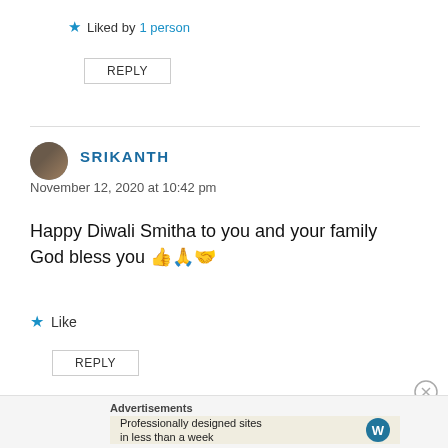★ Liked by 1 person
REPLY
SRIKANTH
November 12, 2020 at 10:42 pm
Happy Diwali Smitha to you and your family God bless you 👍🙏🤝
★ Like
REPLY
Advertisements
Professionally designed sites in less than a week